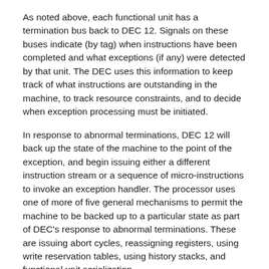As noted above, each functional unit has a termination bus back to DEC 12. Signals on these buses indicate (by tag) when instructions have been completed and what exceptions (if any) were detected by that unit. The DEC uses this information to keep track of what instructions are outstanding in the machine, to track resource constraints, and to decide when exception processing must be initiated.
In response to abnormal terminations, DEC 12 will back up the state of the machine to the point of the exception, and begin issuing either a different instruction stream or a sequence of micro-instructions to invoke an exception handler. The processor uses one of more of five general mechanisms to permit the machine to be backed up to a particular state as part of DEC's response to abnormal terminations. These are issuing abort cycles, reassigning registers, using write reservation tables, using history stacks, and functional unit serialization.
Abort cycles are issued by DEC 12 when instructions which have been issued by the DEC must be flushed from the machine. During an abort cycle all functional units are